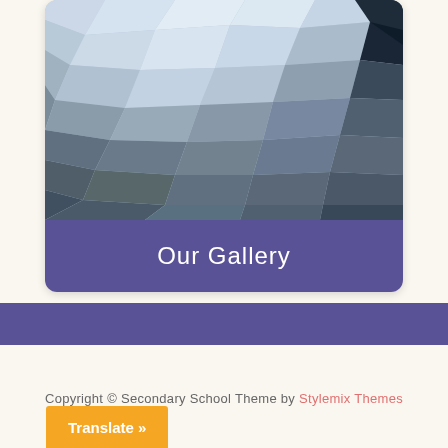[Figure (illustration): A card with a low-poly mosaic image on top in shades of blue, grey, and dark navy, with a purple banner at the bottom reading 'Our Gallery']
Our Gallery
Copyright © Secondary School Theme by Stylemix Themes